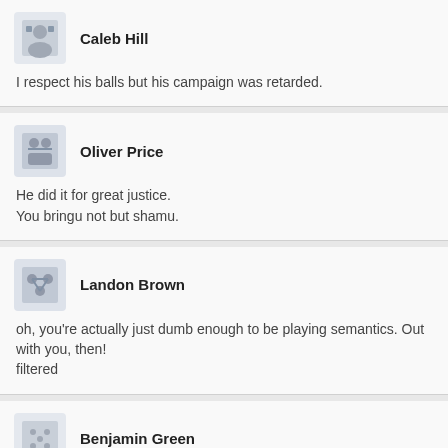Caleb Hill: I respect his balls but his campaign was retarded.
Oliver Price: He did it for great justice.
You bringu not but shamu.
Landon Brown: oh, you're actually just dumb enough to be playing semantics. Out with you, then!
filtered
Benjamin Green: That's about all I got from the op really.